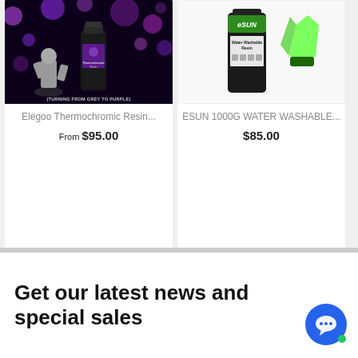[Figure (photo): Elegoo Thermochromic Resin product photo on dark purple/black background with purple bubbles and miniature figure]
Elegoo Thermochromic Resin...
From $95.00
[Figure (photo): ESUN 1000G Water Washable Resin product photo on white background showing black bottle with green eSUN label and green crystal-shaped sample]
ESUN 1000G WATER WASHABLE...
$85.00
Get our latest news and special sales